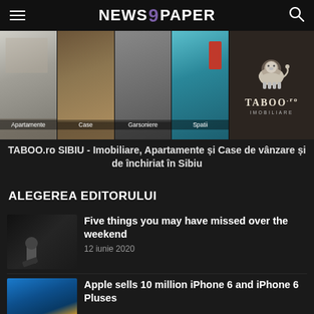NEWS 9 PAPER
[Figure (photo): TABOO.ro Imobiliare advertisement banner showing four room images (Apartamente, Case, Garsoniere, Spatii) and the TABOO lion logo]
TABOO.ro SIBIU - Imobiliare, Apartamente și Case de vânzare și de închiriat în Sibiu
ALEGEREA EDITORULUI
Five things you may have missed over the weekend
12 iunie 2020
Apple sells 10 million iPhone 6 and iPhone 6 Pluses